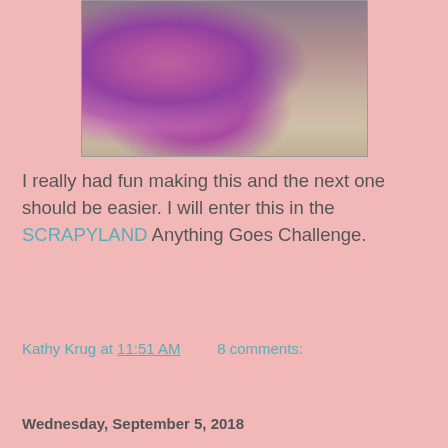[Figure (photo): Craft/scrapbooking photo showing purple flowers and a white ornate lattice/gazebo structure on a decorative background]
I really had fun making this and the next one should be easier. I will enter this in the SCRAPYLAND Anything Goes Challenge.
Kathy Krug at 11:51 AM    8 comments:
Share
Wednesday, September 5, 2018